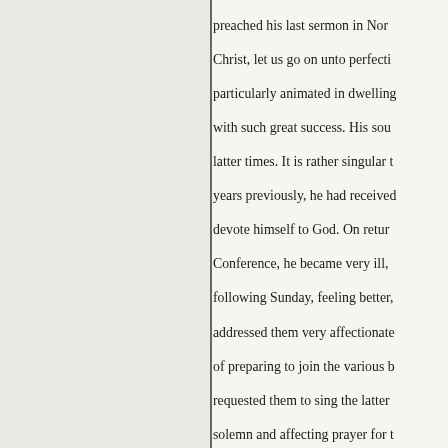preached his last sermon in Nor... Christ, let us go on unto perfecti... particularly animated in dwelling... with such great success. His sou... latter times. It is rather singular t... years previously, he had received... devote himself to God. On retur... Conference, he became very ill,... following Sunday, feeling better,... addressed them very affectionate... of preparing to join the various b... requested them to sing the latter... solemn and affecting prayer for t... will the impression made on the... worse, and was frequently deliri... with my father's illness. My mot... progress of disease now became... Wild both pronounced him to be... the District, called to see him, an... often : he replied, “No;’ and adde... through Christ, and find acceptan...
Our daily delight shall be in... We shall as our right His ri...